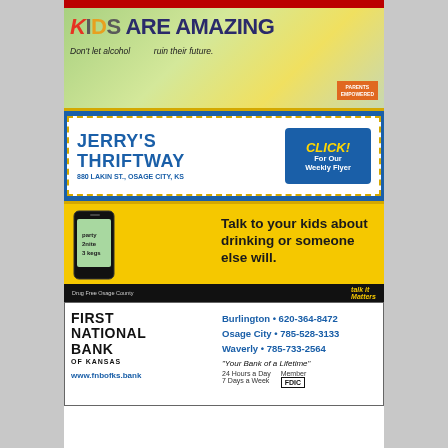[Figure (other): Top red banner strip (partially visible advertisement bar)]
[Figure (other): Kids Are Amazing - Don't let alcohol ruin their future. Parents Empowered advertisement with colorful child.]
[Figure (other): Jerry's Thriftway advertisement - Click For Our Weekly Flyer - 880 Lakin St., Osage City, KS]
[Figure (other): Talk to your kids about drinking or someone else will. Drug Free Osage County / Talk It Matters advertisement with phone image showing 'party 2nite 3 kegs'.]
[Figure (other): First National Bank of Kansas advertisement. Burlington 620-364-8472, Osage City 785-528-3133, Waverly 785-733-2564. Your Bank of a Lifetime. 24 Hours a Day, 7 Days a Week. Member FDIC. www.fnbofks.bank]